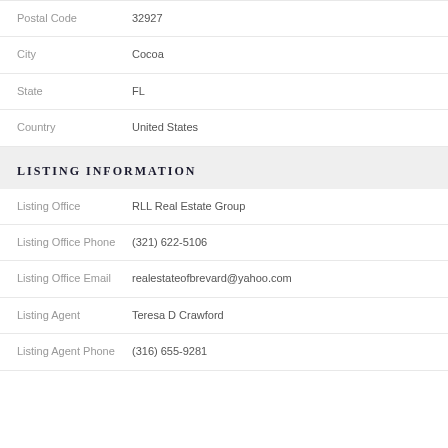Postal Code: 32927
City: Cocoa
State: FL
Country: United States
LISTING INFORMATION
Listing Office: RLL Real Estate Group
Listing Office Phone: (321) 622-5106
Listing Office Email: realestateofbrevard@yahoo.com
Listing Agent: Teresa D Crawford
Listing Agent Phone: (316) 655-9281